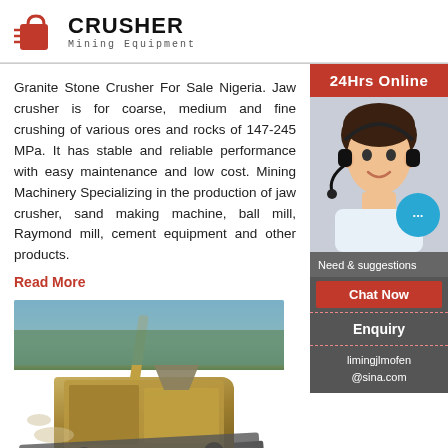CRUSHER Mining Equipment
Granite Stone Crusher For Sale Nigeria. Jaw crusher is for coarse, medium and fine crushing of various ores and rocks of 147-245 MPa. It has stable and reliable performance with easy maintenance and low cost. Mining Machinery Specializing in the production of jaw crusher, sand making machine, ball mill, Raymond mill, cement equipment and other products.
Read More
[Figure (photo): Photo of a stone crusher machine at a quarry/mining site outdoors]
Stone Crusher Sales Outlet In Nige...
Stone Crusher Sales Outlet In Nigeria Home Stone Crusher Sales Outlet In Nigeria PEW series Jaw crusher features big
[Figure (infographic): Right sidebar: 24Hrs Online banner, customer service representative photo with headset, chat bubble icon, Need & suggestions text, Chat Now button, Enquiry section, limingjlmofen@sina.com email]